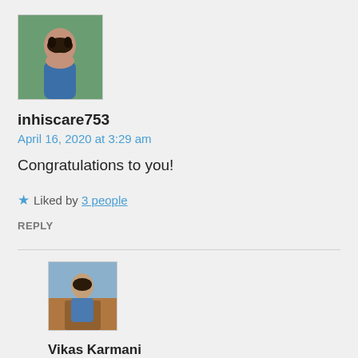[Figure (photo): Profile avatar photo of inhiscare753 — a woman with short dark hair wearing a blue top, outdoors with green background]
inhiscare753
April 16, 2020 at 3:29 am
Congratulations to you!
★ Liked by 3 people
REPLY
[Figure (photo): Profile avatar photo of Vikas Karmani — a man standing on a wooden dock or boat, wearing blue, with a warm-toned background]
Vikas Karmani
April 16, 2020 at 5:27 am